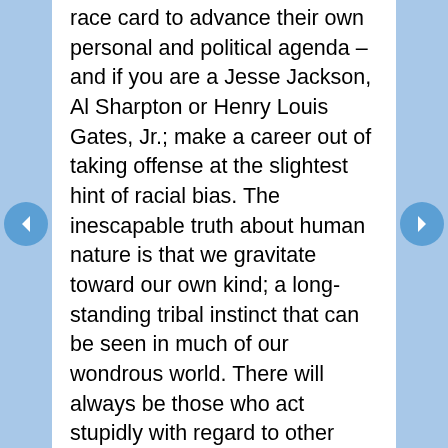race card to advance their own personal and political agenda – and if you are a Jesse Jackson, Al Sharpton or Henry Louis Gates, Jr.; make a career out of taking offense at the slightest hint of racial bias. The inescapable truth about human nature is that we gravitate toward our own kind; a long-standing tribal instinct that can be seen in much of our wondrous world. There will always be those who act stupidly with regard to other people – unfortunately, it seems to be politicians like Barack Obama and Mayor Thomas M. Menino who are seeking to profit from an unfortunate situation. Perhaps Merino should invite the officer over for a beer – as if that will solve the